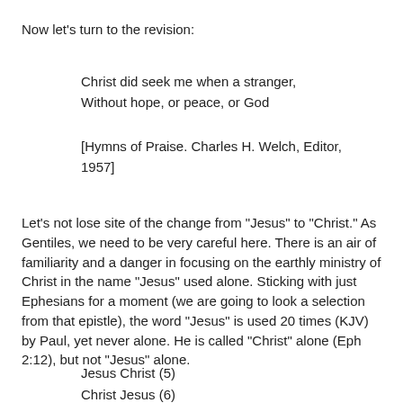Now let's turn to the revision:
Christ did seek me when a stranger,
Without hope, or peace, or God
[Hymns of Praise. Charles H. Welch, Editor, 1957]
Let's not lose site of the change from "Jesus" to "Christ." As Gentiles, we need to be very careful here. There is an air of familiarity and a danger in focusing on the earthly ministry of Christ in the name "Jesus" used alone. Sticking with just Ephesians for a moment (we are going to look a selection from that epistle), the word "Jesus" is used 20 times (KJV) by Paul, yet never alone. He is called "Christ" alone (Eph 2:12), but not "Jesus" alone.
Jesus Christ (5)
Christ Jesus (6)